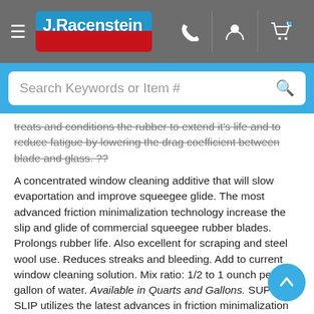J.Racenstein website navigation header with logo, phone, account, and cart icons
Search Keywords or Item #
treats and conditions the rubber to extend it's life and to reduce fatigue by lowering the drag coefficient between blade and glass. ??
A concentrated window cleaning additive that will slow evaportation and improve squeegee glide. The most advanced friction minimalization technology increase the slip and glide of commercial squeegee rubber blades. Prolongs rubber life. Also excellent for scraping and steel wool use. Reduces streaks and bleeding. Add to current window cleaning solution. Mix ratio: 1/2 to 1 ounch per gallon of water. Available in Quarts and Gallons. SUPER SLIP utilizes the latest advances in friction minimalization technology allowing the lowering of the drag coefficient on blade rubbers to an optimal level that assures new levels of blade slip, improved rubber life and a reduction in work related fatigue all without an increase in bleeding.